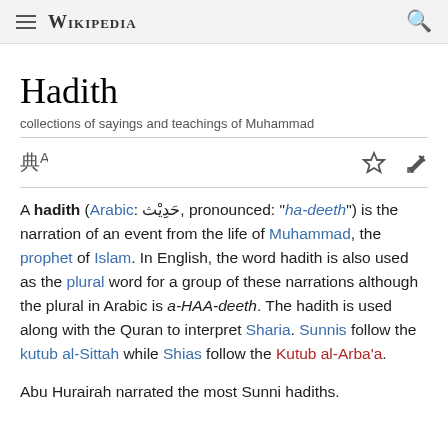Wikipedia
Hadith
collections of sayings and teachings of Muhammad
A hadith (Arabic: حَدِيْث, pronounced: "ha-deeth") is the narration of an event from the life of Muhammad, the prophet of Islam. In English, the word hadith is also used as the plural word for a group of these narrations although the plural in Arabic is a-HAA-deeth. The hadith is used along with the Quran to interpret Sharia. Sunnis follow the kutub al-Sittah while Shias follow the Kutub al-Arba'a.
Abu Hurairah narrated the most Sunni hadiths.